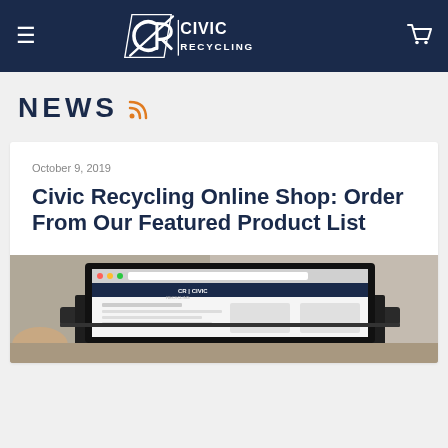Civic Recycling — site header with navigation menu, logo, and cart icon
NEWS
October 9, 2019
Civic Recycling Online Shop: Order From Our Featured Product List
[Figure (photo): Laptop on a desk showing the Civic Recycling website on screen]